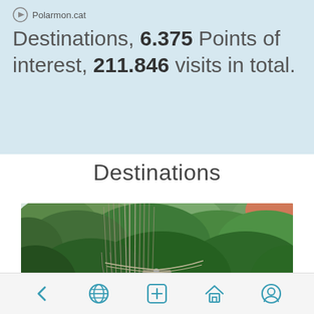Destinations, 6.375 Points of interest, 211.846 visits in total.
Destinations
[Figure (photo): A suspension bridge through a lush green tropical jungle/forest canopy, with tall trees, dense green foliage, and rope suspension cables in the foreground.]
Navigation bar with back, globe, plus, home, and profile icons